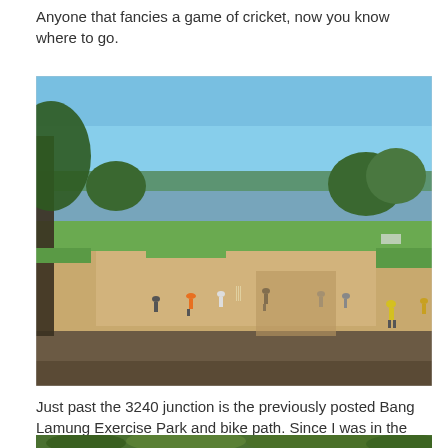Anyone that fancies a game of cricket, now you know where to go.
[Figure (photo): Outdoor cricket game being played on a sandy dirt pitch beside a lake with trees in the background. Several players visible in the field under a blue sky.]
Just past the 3240 junction is the previously posted Bang Lamung Exercise Park and bike path. Since I was in the area I thought I'd make a quick diversion and check out how trees have filled in since my last pics from 2016.
[Figure (photo): Partial view of a park with dense green trees visible at the bottom edge of the page.]